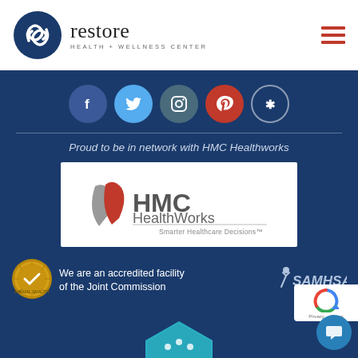[Figure (logo): Restore Health + Wellness Center logo with circular knot icon and text]
[Figure (infographic): Social media icons row: Facebook, Twitter, Instagram, Pinterest, Yelp]
Proud to be in network with HMC Healthworks
[Figure (logo): HMC HealthWorks logo with tagline 'Smarter Healthcare Decisions TM']
[Figure (logo): Joint Commission gold seal accreditation badge]
We are an accredited facility of the Joint Commission
[Figure (logo): SAMHSA logo]
[Figure (logo): LegitScript certified badge (partial)]